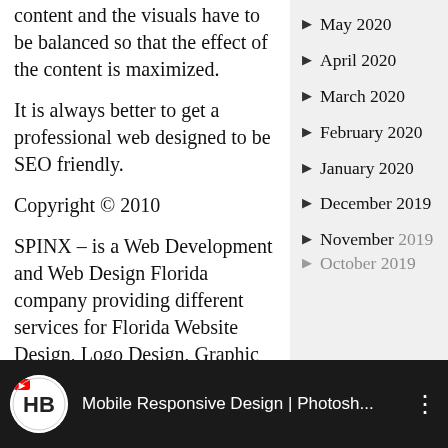content and the visuals have to be balanced so that the effect of the content is maximized.
It is always better to get a professional web designed to be SEO friendly.
Copyright © 2010
SPINX – is a Web Development and Web Design Florida company providing different services for Florida Website Design, Logo Design, Graphic Design and Ecommerce Web Design Development in Florida and Worldwide.
May 2020
April 2020
March 2020
February 2020
January 2020
December 2019
November 2019
October 2019
[Figure (screenshot): YouTube video thumbnail bar: HB logo, title 'Mobile Responsive Design | Photosh...' with three-dot menu]